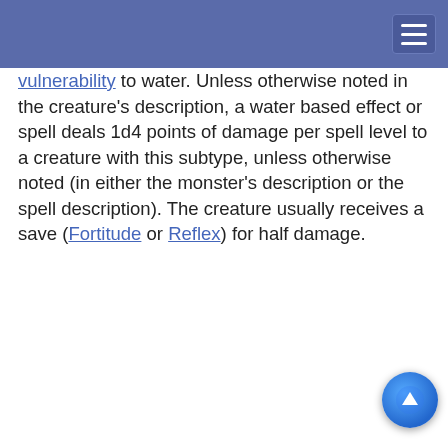[Navigation bar with hamburger menu]
vulnerability to water. Unless otherwise noted in the creature's description, a water based effect or spell deals 1d4 points of damage per spell level to a creature with this subtype, unless otherwise noted (in either the monster's description or the spell description). The creature usually receives a save (Fortitude or Reflex) for half damage.
D... (SRD 7... S... S...)
...rd daemon ... n and the ...us to AC equal +1). ...daemon) ge... their Wis
This website uses cookies to provide functionality, but which are not used to track your activity. By continuing to use this site, you agree to the use of these cookies.

However, in addition to this, you may opt into your activity being tracked in order to help us improve our service.

For more information, please click here